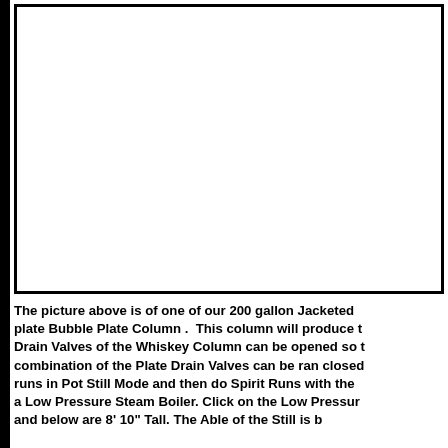[Figure (photo): Large white/blank image area showing a 200 gallon Jacketed Still with Bubble Plate Column]
The picture above is of one of our 200 gallon Jacketed plate Bubble Plate Column . This column will produce t Drain Valves of the Whiskey Column can be opened so t combination of the Plate Drain Valves can be ran closed runs in Pot Still Mode and then do Spirit Runs with the a Low Pressure Steam Boiler. Click on the Low Pressur and below are 8" 10" Tall. The Able of the Still is b